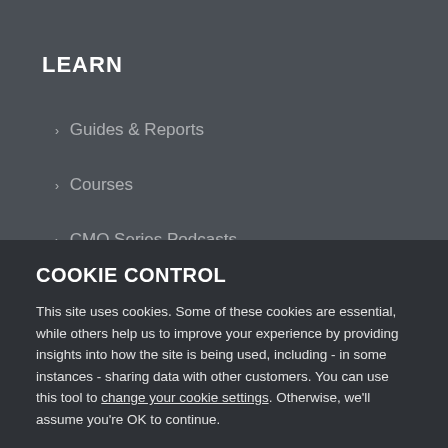LEARN
> Guides & Reports
> Courses
> CMO Series Podcasts
> Legal Website Performance Index
COOKIE CONTROL
This site uses cookies. Some of these cookies are essential, while others help us to improve your experience by providing insights into how the site is being used, including - in some instances - sharing data with other customers. You can use this tool to change your cookie settings. Otherwise, we'll assume you're OK to continue.
I'm fine with this
ATTEND
> Events
> Accreditation Course
More details